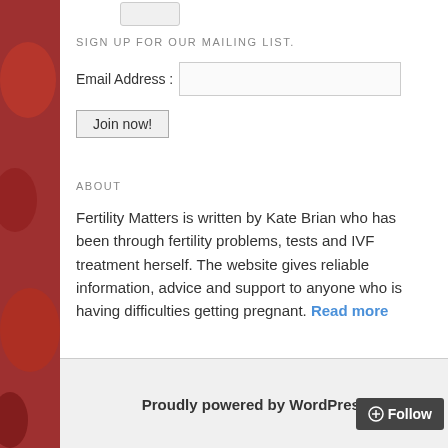[Figure (photo): Decorative colorful patterned Easter eggs background image visible on left and right sides of the page]
SIGN UP FOR OUR MAILING LIST.
Email Address :
Join now!
ABOUT
Fertility Matters is written by Kate Brian who has been through fertility problems, tests and IVF treatment herself. The website gives reliable information, advice and support to anyone who is having difficulties getting pregnant. Read more
Proudly powered by WordPress